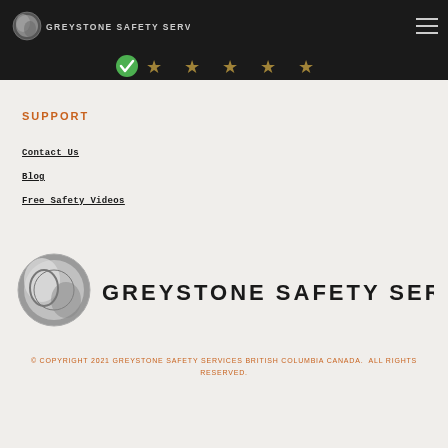[Figure (logo): Greystone Safety Services logo in navbar with small sphere icon and text]
[Figure (other): Green checkmark and gold star rating icons on dark background]
SUPPORT
Contact Us
Blog
Free Safety Videos
[Figure (logo): Large Greystone Safety Services logo with metallic sphere and full company name]
© COPYRIGHT 2021 GREYSTONE SAFETY SERVICES BRITISH COLUMBIA CANADA.  ALL RIGHTS RESERVED.